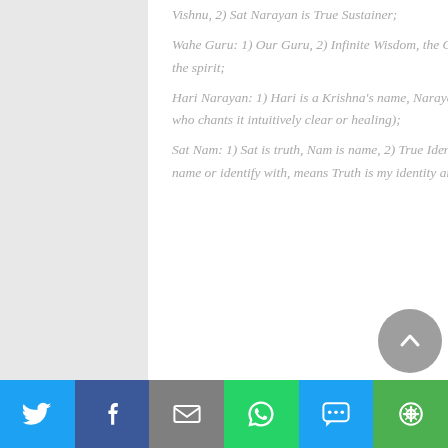Vishnu, 2) Sat Narayan is True Sustainer; Wahe Guru: 1) Our Guru, 2) Infinite Wisdom, the Guru Mantra, the mantra of ecstasy, chanting it elevates the spirit; Hari Narayan: 1) Hari is a Krishna's name, Narayan means Vishnu, 2) A creative source (makes the one who chants it intuitively clear or healing); Sat Nam: 1) Sat is truth, Nam is name, 2) True Identity (Sat means the Truth; Nam means to call upon, name or identify with, means Truth is my identity and I call upon the eternal Truth that resides in all of us.).
[Figure (other): Social media share bar with Twitter, Facebook, Email, WhatsApp, SMS, and More buttons]